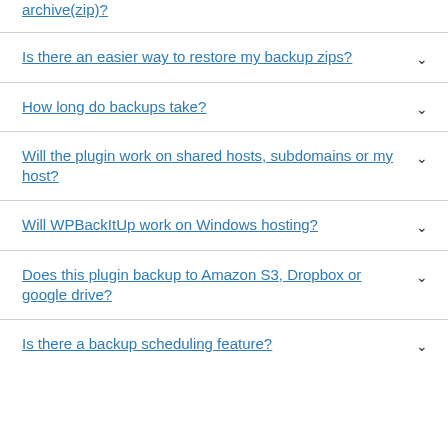archive(zip)?
Is there an easier way to restore my backup zips?
How long do backups take?
Will the plugin work on shared hosts, subdomains or my host?
Will WPBackItUp work on Windows hosting?
Does this plugin backup to Amazon S3, Dropbox or google drive?
Is there a backup scheduling feature?